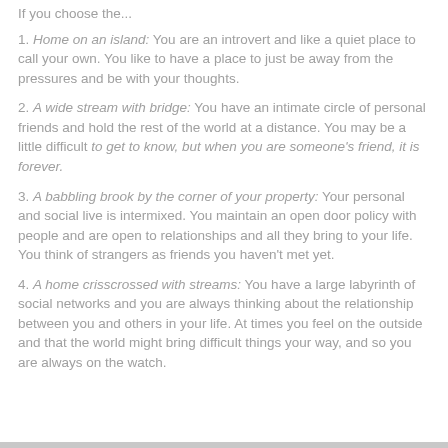1. Home on an island: You are an introvert and like a quiet place to call your own. You like to have a place to just be away from the pressures and be with your thoughts.
2. A wide stream with bridge: You have an intimate circle of personal friends and hold the rest of the world at a distance. You may be a little difficult to get to know, but when you are someone's friend, it is forever.
3. A babbling brook by the corner of your property: Your personal and social live is intermixed. You maintain an open door policy with people and are open to relationships and all they bring to your life. You think of strangers as friends you haven't met yet.
4. A home crisscrossed with streams: You have a large labyrinth of social networks and you are always thinking about the relationship between you and others in your life. At times you feel on the outside and that the world might bring difficult things your way, and so you are always on the watch.